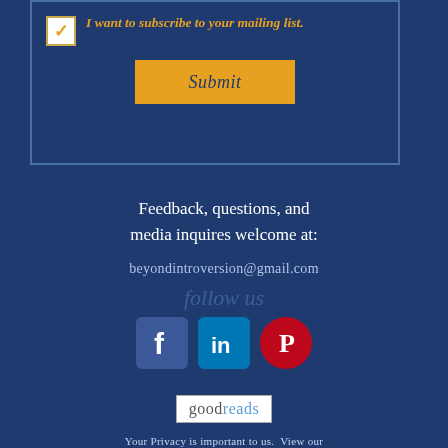I want to subscribe to your mailing list.
Submit
Feedback, questions, and media inquires welcome at:
beyondintroversion@gmail.com
follow us
[Figure (logo): Facebook, LinkedIn, and Pinterest social media icons]
[Figure (logo): Goodreads logo badge]
Your Privacy is important to us.  View our Privacy Policy here.